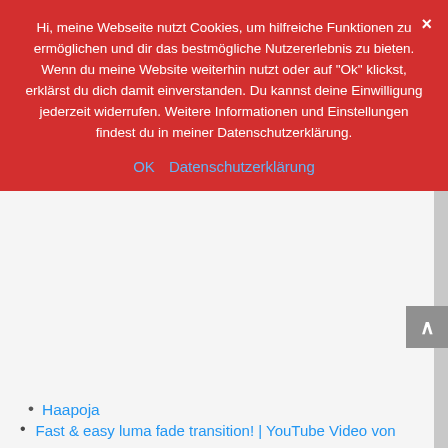Hi, meine Webseite nutzt Cookies, um hilfreiche Funktionen zu ermöglichen und dir das bestmögliche Nutzererlebnis zu bieten. Wenn du meine Website weiterhin nutzt oder auf "Ok" klickst, erklärst du dich damit einverstanden. Du kannst deine Einwilligung jederzeit widerrufen. Weitere Informationen und Einstellungen findest du in meiner Datenschutzerklärung.
Haapoja
Fast & easy luma fade transition! | YouTube Video von PeterMcKinnon
How to stabilize shaky footage (not with Warp Stabilizer) | YouTube Video von Matti Haapoja
How to edit video with mixed resolutions | Upscale 1080p & downscale 4K footage In Premiere Pro | YouTube Video von Matt WhoisMatt Johnson